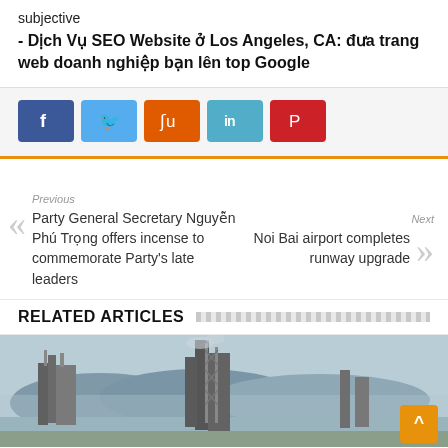subjective
- Dịch Vụ SEO Website ở Los Angeles, CA: đưa trang web doanh nghiệp bạn lên top Google
[Figure (other): Social share buttons: Facebook (blue), Twitter (light blue), StumbleUpon (orange-red), LinkedIn (teal), Pinterest (red)]
Previous
Party General Secretary Nguyễn Phú Trọng offers incense to commemorate Party's late leaders
Next
Noi Bai airport completes runway upgrade
RELATED ARTICLES
[Figure (photo): Industrial facility/factory with tall structures and towers, mountains visible in background, hazy sky]